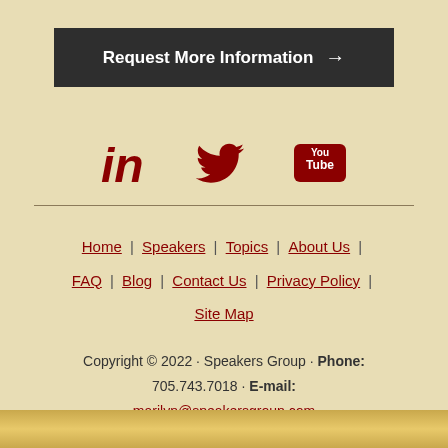Request More Information →
[Figure (illustration): Social media icons: LinkedIn (in), Twitter (bird), YouTube (You Tube box)]
Home | Speakers | Topics | About Us | FAQ | Blog | Contact Us | Privacy Policy | Site Map
Copyright © 2022 · Speakers Group · Phone: 705.743.7018 · E-mail: marilyn@speakersgroup.com Website: Black Cap Design